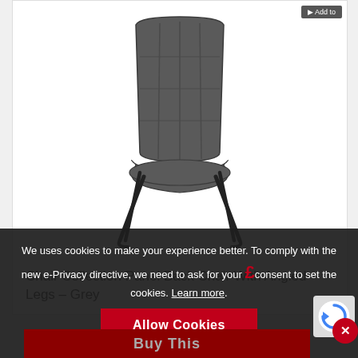[Figure (photo): A grey upholstered panel back dining chair with angled black metal legs, shown on white background]
Chair Collection Panel Back Chair With Angled Legs – Grey
We uses cookies to make your experience better. To comply with the new e-Privacy directive, we need to ask for your consent to set the cookies. Learn more.
Allow Cookies